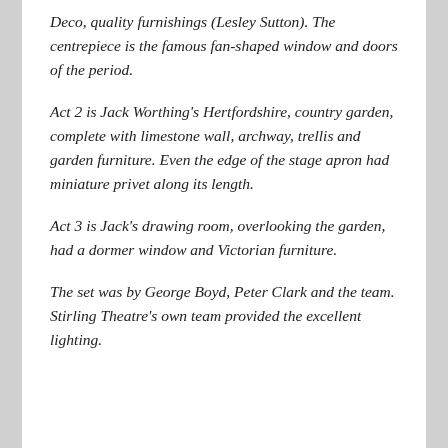Deco, quality furnishings (Lesley Sutton). The centrepiece is the famous fan-shaped window and doors of the period.
Act 2 is Jack Worthing's Hertfordshire, country garden, complete with limestone wall, archway, trellis and garden furniture. Even the edge of the stage apron had miniature privet along its length.
Act 3 is Jack's drawing room, overlooking the garden, had a dormer window and Victorian furniture.
The set was by George Boyd, Peter Clark and the team. Stirling Theatre's own team provided the excellent lighting.